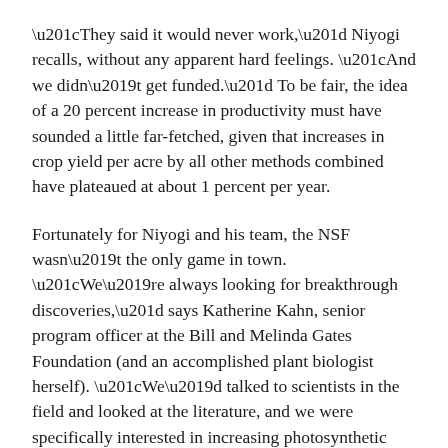“They said it would never work,” Niyogi recalls, without any apparent hard feelings. “And we didn’t get funded.” To be fair, the idea of a 20 percent increase in productivity must have sounded a little far-fetched, given that increases in crop yield per acre by all other methods combined have plateaued at about 1 percent per year.
Fortunately for Niyogi and his team, the NSF wasn’t the only game in town. “We’re always looking for breakthrough discoveries,” says Katherine Kahn, senior program officer at the Bill and Melinda Gates Foundation (and an accomplished plant biologist herself). “We’d talked to scientists in the field and looked at the literature, and we were specifically interested in increasing photosynthetic efficiency.”
But at that point it wasn’t clear if the idea truly had real-world promise. Then Niyogi and Long suggested their approach, and, according to Kahn, “it was just an ‘aha’ moment for me and my boss. Their thinking was very clear about how to